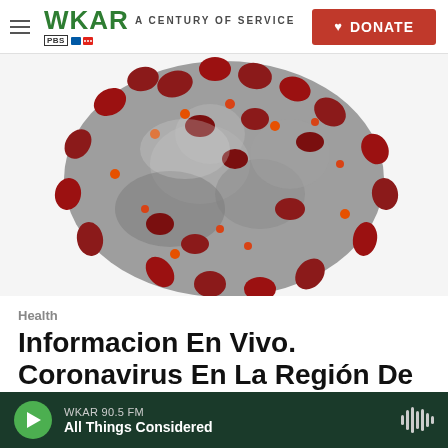WKAR · A CENTURY OF SERVICE · DONATE
[Figure (photo): Close-up microscopic illustration of a coronavirus particle, showing the grey spherical body with red spike proteins (crown-like protrusions) and small orange dots on the surface, against a white background.]
Health
Informacion En Vivo. Coronavirus En La Región De
WKAR 90.5 FM · All Things Considered